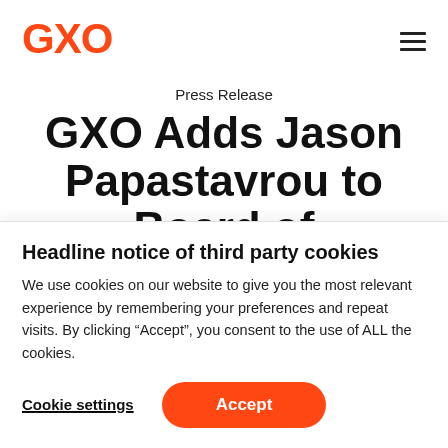GXO
Press Release
GXO Adds Jason Papastavrou to Board of
Headline notice of third party cookies
We use cookies on our website to give you the most relevant experience by remembering your preferences and repeat visits. By clicking “Accept”, you consent to the use of ALL the cookies.
Cookie settings
Accept